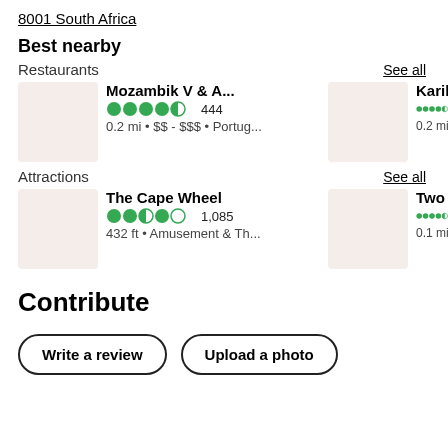8001 South Africa
Best nearby
Restaurants
See all
Mozambik V & A...  444  0.2 mi • $$ - $$$ • Portug...
Karibu Re...  0.2 mi • $$
Attractions
See all
The Cape Wheel  1,085  432 ft • Amusement & Th...
Two Oce...  0.1 mi • Aqu
Contribute
Write a review
Upload a photo